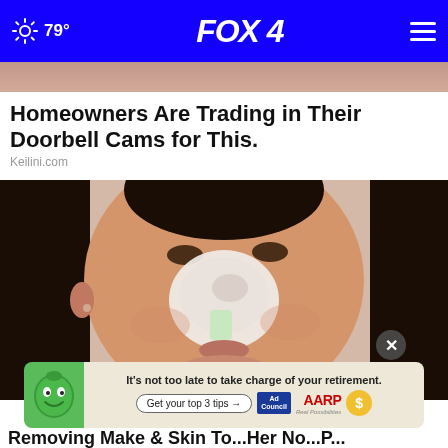FOX 4  79°
[Figure (photo): Cropped top portion of a person's face — skin tone, partial hair visible at top edge of page]
Homeowners Are Trading in Their Doorbell Cams for This.
Keilini.com
[Figure (photo): Woman with white cream/mask on her nose and parts of her face, holding a toothbrush up to her nose, looking into camera]
[Figure (other): AARP advertisement banner: 'It's not too late to take charge of your retirement. Get your top 3 tips →' with Ad Council badge and AARP logo]
Removing Make & Skin To...Her No...P...